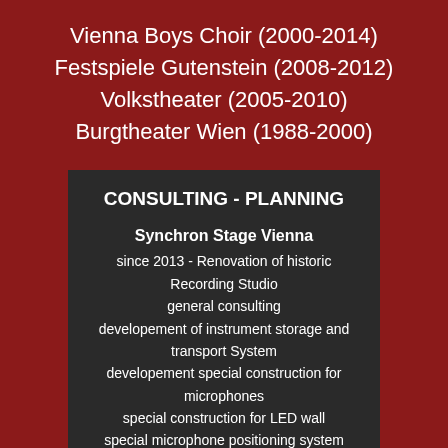Vienna Boys Choir (2000-2014)
Festspiele Gutenstein (2008-2012)
Volkstheater (2005-2010)
Burgtheater Wien (1988-2000)
CONSULTING - PLANNING
Synchron Stage Vienna
since 2013 - Renovation of historic Recording Studio
general consulting
developement of instrument storage and transport System
developement special construction for microphones
special construction for LED wall
special microphone positioning system
stage management for recording sessions